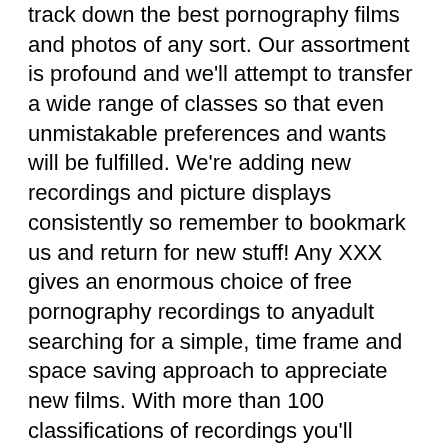track down the best pornography films and photos of any sort. Our assortment is profound and we'll attempt to transfer a wide range of classes so that even unmistakable preferences and wants will be fulfilled. We're adding new recordings and picture displays consistently so remember to bookmark us and return for new stuff! Any XXX gives an enormous choice of free pornography recordings to anyadult searching for a simple, time frame and space saving approach to appreciate new films. With more than 100 classifications of recordings you'll discover all that you could need to watch! An enormous piece of the substance is accessible on request so you don't need to scan all around the net for great simulated intercourses or pornography cuts. Just bookmark us and you will consistently discover what is happening in the grown-up industry at this moment! XXX Free Porn Tube is another free pornography internet searcher, with a huge number of pornography classes. We don't need you to track down a precise match of the pornography recordings you are looking for. However, we additionally permit you to look for close matches, so that to some degree coordinating with pornography recordings will likewise be displayed as your query items. Our rationale is basic: You can either look for a word or express, or essentially click on the Free Porn